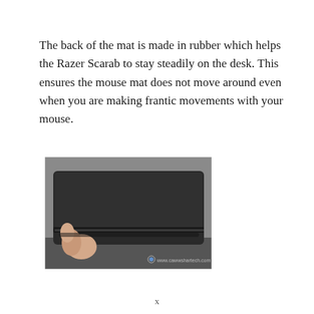The back of the mat is made in rubber which helps the Razer Scarab to stay steadily on the desk. This ensures the mouse mat does not move around even when you are making frantic movements with your mouse.
[Figure (photo): A hand holding the edge of the Razer Scarab mouse mat, showing the rubber underside. The mat is dark/black and photographed against a grey background. Watermark reads www.cawwshartech.com at the bottom right.]
x